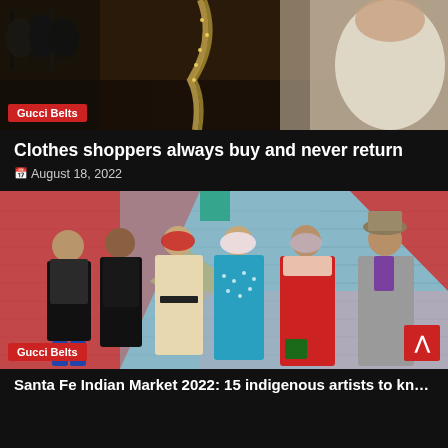[Figure (photo): Woman shopping for clothes in a store, browsing hanging garments on a rack]
Gucci Belts
Clothes shoppers always buy and never return
🗓 August 18, 2022
[Figure (photo): Group of six people in traditional indigenous clothing standing in front of a colorful mural with geometric shapes in red, blue, and pink]
Gucci Belts
Santa Fe Indian Market 2022: 15 indigenous artists to know